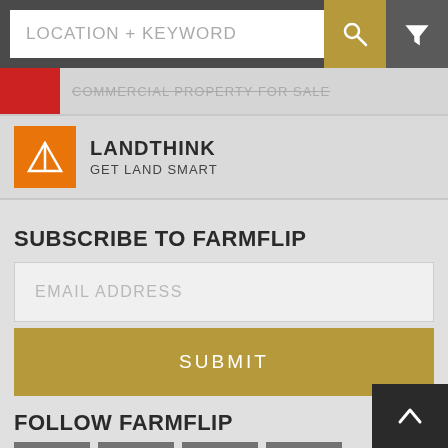[Figure (screenshot): Search bar with LOCATION + KEYWORD input field, gold search icon button, and gray filter icon button]
COMMERCIAL PROPERTY FOR SALE
[Figure (logo): Landthink logo - orange square with white triangle/A symbol]
LANDTHINK
GET LAND SMART
SUBSCRIBE TO FARMFLIP
EMAIL ADDRESS
SUBMIT
FOLLOW FARMFLIP
[Figure (infographic): Social media icons: Facebook, Twitter, Instagram, LinkedIn in gray square buttons]